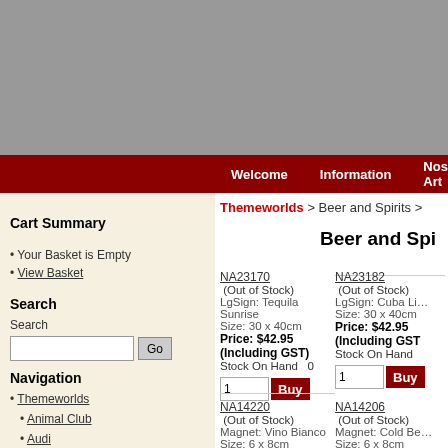Welcome | Information | Nostalgic Art
Themeworlds > Beer and Spirits >
Cart Summary
• Your Basket is Empty
• View Basket
Search
Search [input] Go
Navigation
• Themeworlds
• Animal Club
• Audi
• BMW
• Beer and Spirits
• NA10324
Beer and Spi...
NA23170 (Out of Stock) LgSign: Tequila Sunrise Size: 30 x 40cm Price: $42.95 (Including GST) Stock On Hand 0
NA23182 (Out of Stock) LgSign: Cuba Li... Size: 30 x 40cm Price: $42.95 (Including GST) Stock On Hand
NA14220 (Out of Stock) Magnet: Vino Bianco Size: 6 x 8cm Price: $6.50
NA14206 (Out of Stock) Magnet: Cold Be... Size: 6 x 8cm Price: $6.50